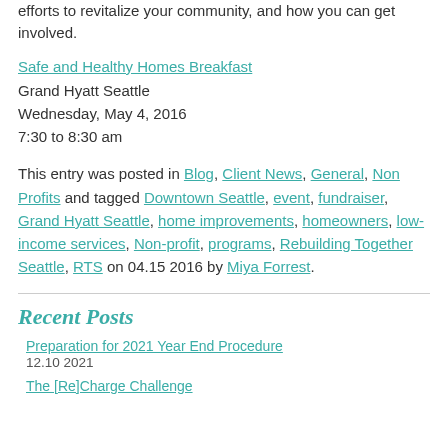efforts to revitalize your community, and how you can get involved.
Safe and Healthy Homes Breakfast
Grand Hyatt Seattle
Wednesday, May 4, 2016
7:30 to 8:30 am
This entry was posted in Blog, Client News, General, Non Profits and tagged Downtown Seattle, event, fundraiser, Grand Hyatt Seattle, home improvements, homeowners, low-income services, Non-profit, programs, Rebuilding Together Seattle, RTS on 04.15 2016 by Miya Forrest.
Recent Posts
Preparation for 2021 Year End Procedure
12.10 2021
The [Re]Charge Challenge